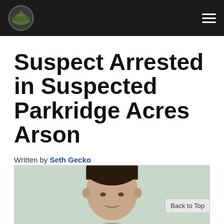[Site logo and navigation menu icon]
Suspect Arrested in Suspected Parkridge Acres Arson
Written by Seth Gecko
Published: 13 January 2020
[Figure (photo): Mugshot-style photo of a man with dark hair, partial view showing top of head]